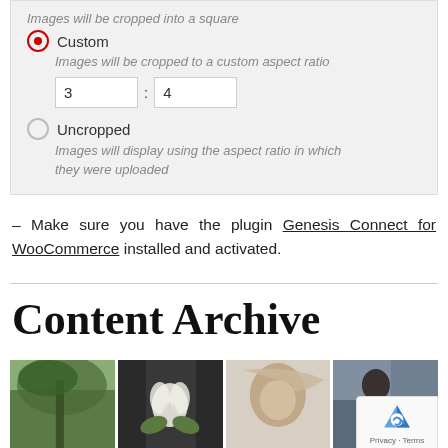[Figure (screenshot): WordPress/CMS settings UI showing image crop options: 'Custom' radio selected with ratio inputs 3:4, and 'Uncropped' radio unselected]
– Make sure you have the plugin Genesis Connect for WooCommerce installed and activated.
Content Archive
[Figure (photo): Four thumbnail photos in a horizontal strip showing: palm trees, person holding white flower, person with windswept hair, person in dark outfit]